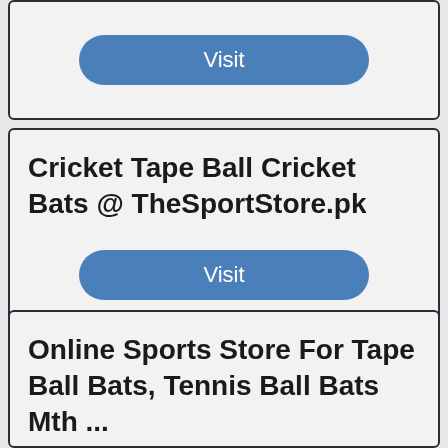[Figure (screenshot): Top card showing a Visit button on light gray background]
Cricket Tape Ball Cricket Bats @ TheSportStore.pk
[Figure (screenshot): Visit button in blue rounded rectangle]
Online Sports Store For Tape Ball Bats, Tennis Ball Bats Mth ...
[Figure (screenshot): Partially visible Visit button at bottom]